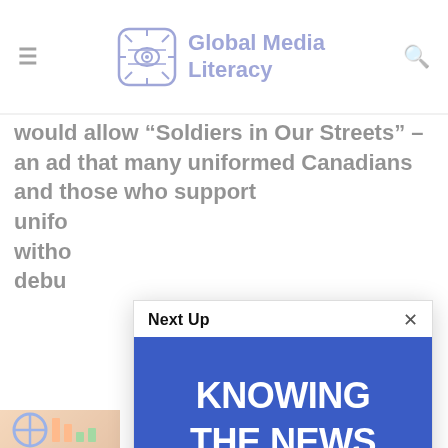Global Media Literacy
would allow “Soldiers in Our Streets” – an ad that many uniformed Canadians and those who support unifo... witho... debu...
[Figure (screenshot): Modal popup overlay showing 'Next Up' with a blue promotional image for 'KNOWING THE NEWS' by PEN AMERICA, with title 'Know the news: a project to defend media literacy and disinformation' and meta 'admin • September 11, 2021']
Know the news: a project to defend media literacy and disinformation
admin • September 11, 2021